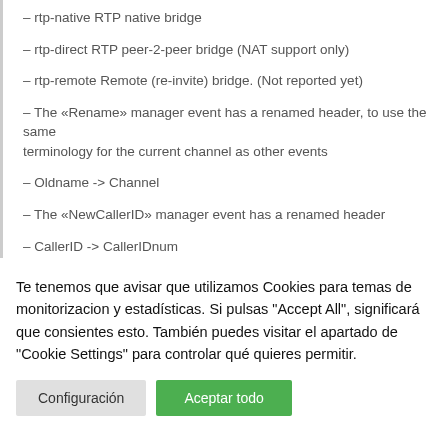– rtp-native RTP native bridge
– rtp-direct RTP peer-2-peer bridge (NAT support only)
– rtp-remote Remote (re-invite) bridge. (Not reported yet)
– The «Rename» manager event has a renamed header, to use the same terminology for the current channel as other events
– Oldname -> Channel
– The «NewCallerID» manager event has a renamed header
– CallerID -> CallerIDnum
Te tenemos que avisar que utilizamos Cookies para temas de monitorizacion y estadísticas. Si pulsas "Accept All", significará que consientes esto. También puedes visitar el apartado de "Cookie Settings" para controlar qué quieres permitir.
Configuración   Aceptar todo